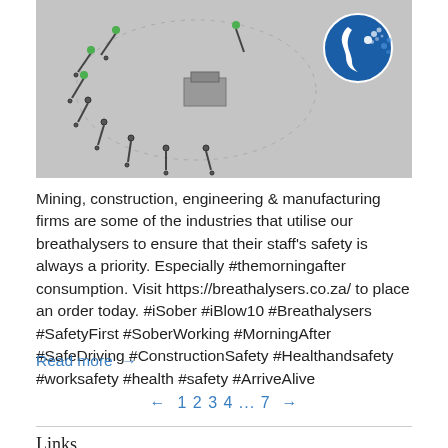[Figure (photo): Aerial view of a mining or construction site with equipment arranged in a circular pattern on a grey surface. A blue circular logo with a white face profile blowing breath/bubbles is overlaid in the top-right corner of the image.]
Mining, construction, engineering & manufacturing firms are some of the industries that utilise our breathalysers to ensure that their staff's safety is always a priority. Especially #themorningafter consumption. Visit https://breathalysers.co.za/ to place an order today. #iSober #iBlow10 #Breathalysers #SafetyFirst #SoberWorking #MorningAfter #SafeDriving #ConstructionSafety #Healthandsafety #worksafety #health #safety #ArriveAlive
Read more →
← 1 2 3 4 ... 7 →
Links